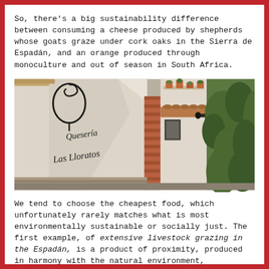So, there's a big sustainability difference between consuming a cheese produced by shepherds whose goats graze under cork oaks in the Sierra de Espadán, and an orange produced through monoculture and out of season in South Africa.
[Figure (photo): Photograph of a white Spanish building facade with wrought iron decorative elements and script lettering reading 'Quesería Los Lloratos' or similar cheese shop name. The right side shows a hillside with dense green trees and a traditional brick and tile building. Terracotta pots with plants are visible on a balcony ledge.]
We tend to choose the cheapest food, which unfortunately rarely matches what is most environmentally sustainable or socially just. The first example, of extensive livestock grazing in the Espadán, is a product of proximity, produced in harmony with the natural environment, supporting the local